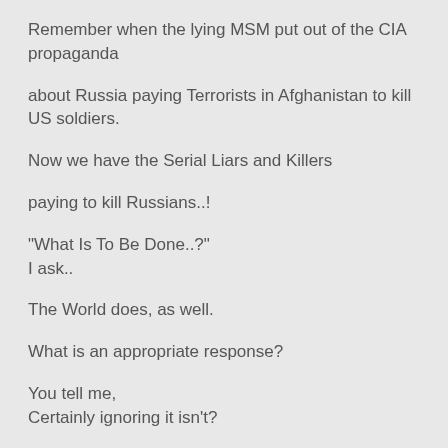Remember when the lying MSM put out of the CIA propaganda
about Russia paying Terrorists in Afghanistan to kill US soldiers.
Now we have the Serial Liars and Killers
paying to kill Russians..!
"What Is To Be Done..?"
I ask..
The World does, as well.
What is an appropriate response?
You tell me,
Certainly ignoring it isn't?
Moreover,
Elon Musk's satellites are